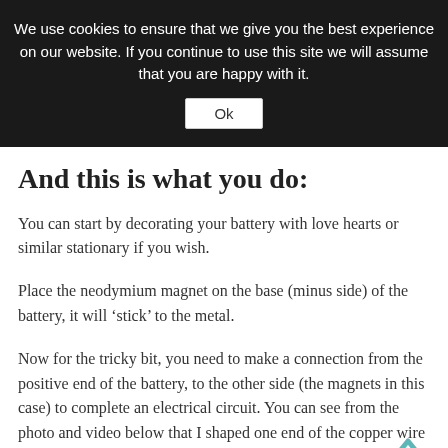We use cookies to ensure that we give you the best experience on our website. If you continue to use this site we will assume that you are happy with it.
Ok
And this is what you do:
You can start by decorating your battery with love hearts or similar stationary if you wish.
Place the neodymium magnet on the base (minus side) of the battery, it will ‘stick’ to the metal.
Now for the tricky bit, you need to make a connection from the positive end of the battery, to the other side (the magnets in this case) to complete an electrical circuit. You can see from the photo and video below that I shaped one end of the copper wire into a heart